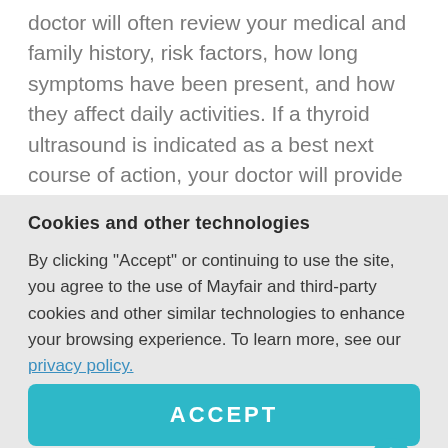doctor will often review your medical and family history, risk factors, how long symptoms have been present, and how they affect daily activities. If a thyroid ultrasound is indicated as a best next course of action, your doctor will provide
Cookies and other technologies
By clicking "Accept" or continuing to use the site, you agree to the use of Mayfair and third-party cookies and other similar technologies to enhance your browsing experience. To learn more, see our privacy policy.